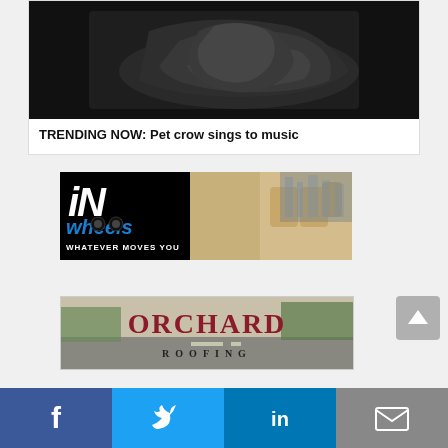[Figure (photo): Dark photo of a person lying down, wearing dark clothing, seen from behind/side angle against a dark background]
TRENDING NOW: Pet crow sings to music
[Figure (logo): iN Wheels advertisement banner — logo with 'iN' in large italic white text and 'wheels' in blue italic text with tire graphic, tagline 'WHATEVER MOVES YOU', car interior background]
[Figure (logo): Orchard Roofing advertisement banner with dark red 'ORCHARD' heading and 'ROOFING' subtitle in black letter-spaced text]
[Figure (infographic): Social sharing bar with Facebook, Twitter, LinkedIn, and email icons]